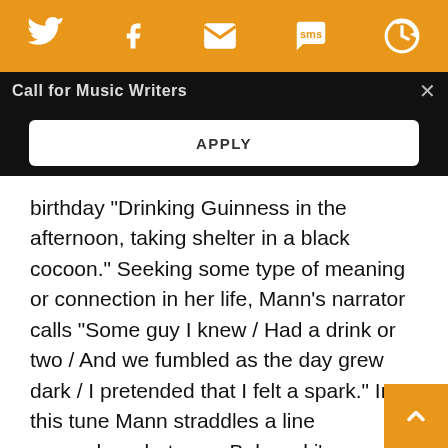[Figure (screenshot): Orange navigation bar with social media icons: Twitter bird, Facebook f, envelope/email, SMS speech bubble, and a circular arrow/share icon. All icons are white on orange background.]
Call for Music Writers
APPLY
birthday “Drinking Guinness in the afternoon, taking shelter in a black cocoon.” Seeking some type of meaning or connection in her life, Mann’s narrator calls “Some guy I knew / Had a drink or two / And we fumbled as the day grew dark / I pretended that I felt a spark.” In this tune Mann straddles a line somewhere between Bukowski’s bedraggled and besotted prose and Hank Williams’ lost and lonesome laments.